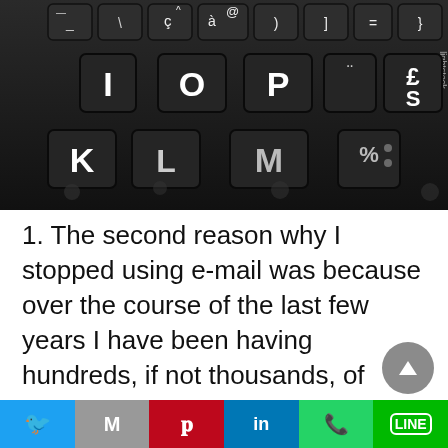[Figure (photo): Close-up photograph of a dark laptop keyboard with keys visible including I, O, P, E/£, K, L, M and various special character keys]
1. The second reason why I stopped using e-mail was because over the course of the last few years I have been having hundreds, if not thousands, of interactions with younger generations of knowledge workers, whether they are working already or before entering